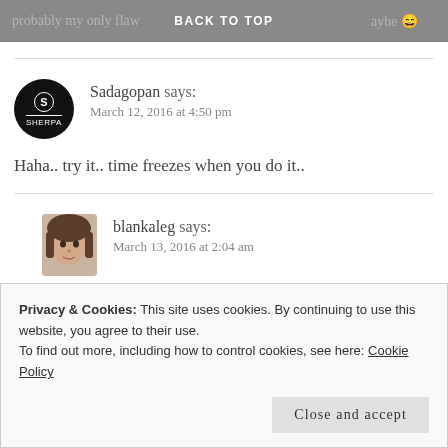probably my only flaw BACK TO TOP aybe 😄
Sadagopan says:
March 12, 2016 at 4:50 pm
Haha.. try it.. time freezes when you do it..
blankaleg says:
March 13, 2016 at 2:04 am
During my 8-year-carrier in corporation I have never
Privacy & Cookies: This site uses cookies. By continuing to use this website, you agree to their use.
To find out more, including how to control cookies, see here: Cookie Policy
Close and accept